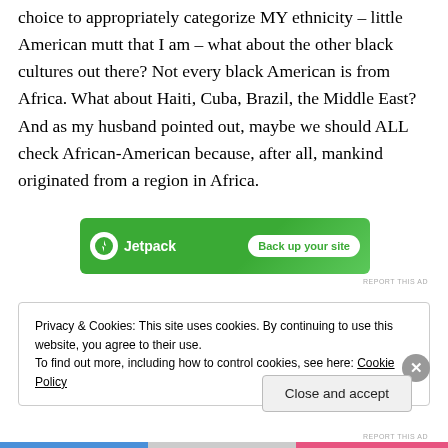choice to appropriately categorize MY ethnicity – little American mutt that I am – what about the other black cultures out there? Not every black American is from Africa. What about Haiti, Cuba, Brazil, the Middle East? And as my husband pointed out, maybe we should ALL check African-American because, after all, mankind originated from a region in Africa.
[Figure (other): Jetpack advertisement banner with green background, Jetpack logo with lightning bolt icon, and 'Back up your site' button]
Privacy & Cookies: This site uses cookies. By continuing to use this website, you agree to their use. To find out more, including how to control cookies, see here: Cookie Policy
Close and accept